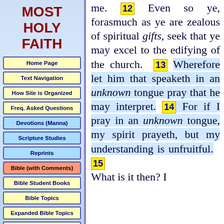MOST HOLY FAITH
Home Page
Text Navigation
How Site is Organized
Freq. Asked Questions
Devotions (Manna)
Scripture Studies
Reprints
Bible (with Comments)
Bible Student Books
Bible Topics
Expanded Bible Topics
Bible Student Webs
Miscellaneous
me. 12 Even so ye, forasmuch as ye are zealous of spiritual gifts, seek that ye may excel to the edifying of the church. 13 Wherefore let him that speaketh in an unknown tongue pray that he may interpret. 14 For if I pray in an unknown tongue, my spirit prayeth, but my understanding is unfruitful. 15 What is it then? I